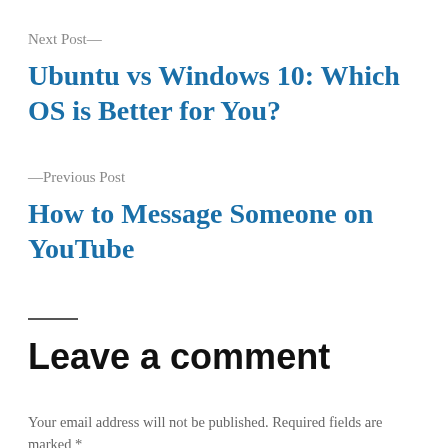Next Post—
Ubuntu vs Windows 10: Which OS is Better for You?
—Previous Post
How to Message Someone on YouTube
Leave a comment
Your email address will not be published. Required fields are marked *